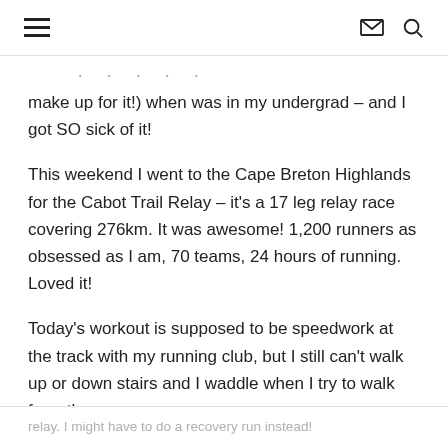≡  ✉ 🔍
make up for it!) when was in my undergrad – and I got SO sick of it!
This weekend I went to the Cape Breton Highlands for the Cabot Trail Relay – it's a 17 leg relay race covering 276km. It was awesome! 1,200 runners as obsessed as I am, 70 teams, 24 hours of running. Loved it!
Today's workout is supposed to be speedwork at the track with my running club, but I still can't walk up or down stairs and I waddle when I try to walk from the
relay. I might have to do a recovery run instead!